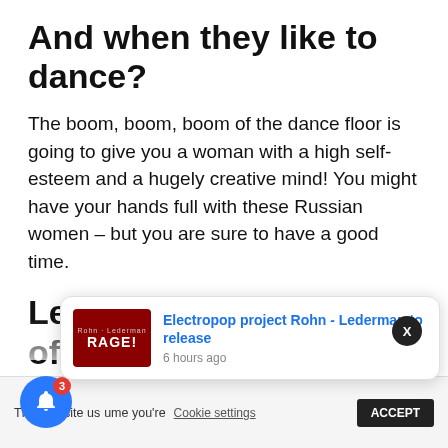And when they like to dance?
The boom, boom, boom of the dance floor is going to give you a woman with a high self-esteem and a hugely creative mind! You might have your hands full with these Russian women – but you are sure to have a good time.
Let music be the food of love
Shakespeare knew what he was talking about – right? Music is the food of love. So, we should pay attention to his advice – look at the music listed on
This website us
ume you're
Cookie settings
ACCEPT
[Figure (screenshot): Blue circular notification bell button with red badge showing '3']
X
[Figure (screenshot): Notification popup showing 'Electropop project Rohn - Lederman to release' with a dark red RAGE! album image, posted 6 hours ago]